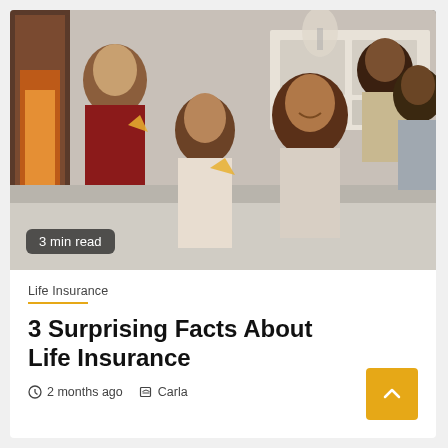[Figure (photo): A family of five sitting together on a couch, sharing pizza and laughing. A mother with curly hair in the center, two daughters, and a father and another child in the background near a white dresser.]
3 min read
Life Insurance
3 Surprising Facts About Life Insurance
2 months ago   Carla